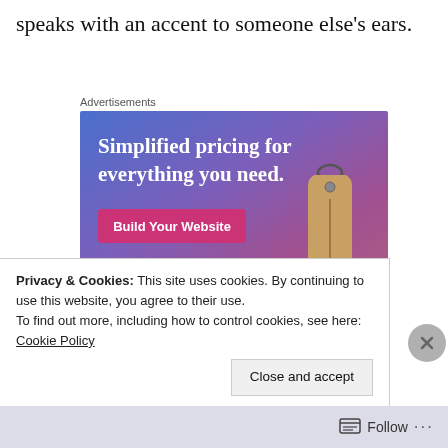speaks with an accent to someone else's ears.
Advertisements
[Figure (illustration): Advertisement banner with blue-purple gradient background. Text reads 'Simplified pricing for everything you need.' with a pink 'Build Your Website' button and a tan/gold price tag illustration on the right.]
Privacy & Cookies: This site uses cookies. By continuing to use this website, you agree to their use.
To find out more, including how to control cookies, see here: Cookie Policy
Close and accept
Follow